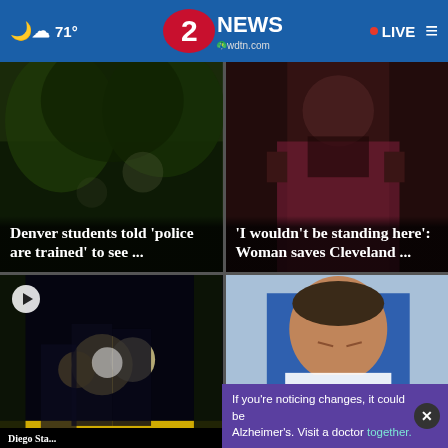71° 2 NEWS wdtn.com • LIVE
[Figure (screenshot): News card: Denver students told 'police are trained' to see ... with dark outdoor background]
[Figure (screenshot): News card: 'I wouldn't be standing here': Woman saves Cleveland ... with person in background]
[Figure (screenshot): News card with play icon: Cleveland man shot while... with police/crime scene night photo]
[Figure (screenshot): News card: Bills punt... with football player in blue jersey, with ad overlay: If you're noticing changes, it could be Alzheimer's. Visit a doctor together.]